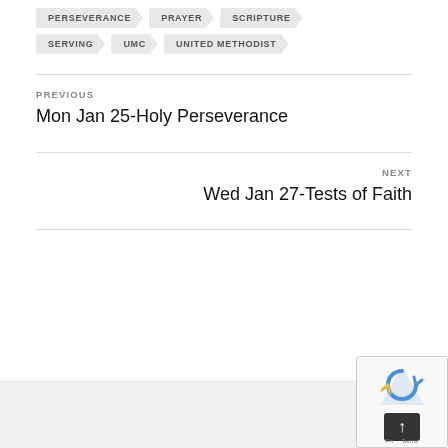PERSEVERANCE
PRAYER
SCRIPTURE
SERVING
UMC
UNITED METHODIST
PREVIOUS
Mon Jan 25-Holy Perseverance
NEXT
Wed Jan 27-Tests of Faith